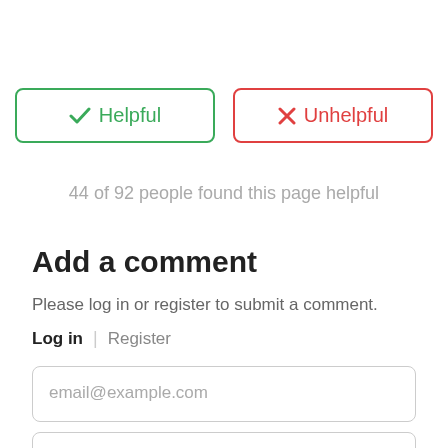[Figure (screenshot): Two buttons: a green 'Helpful' button with a checkmark icon and a red 'Unhelpful' button with an X icon]
44 of 92 people found this page helpful
Add a comment
Please log in or register to submit a comment.
Log in  |  Register
email@example.com
Password